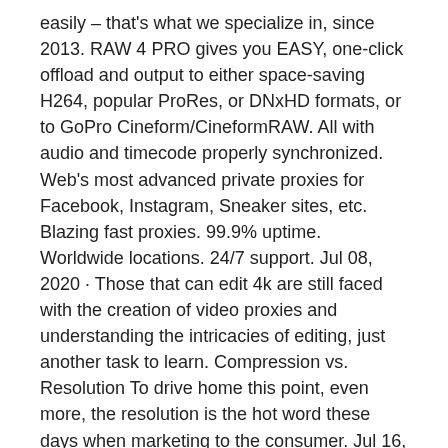easily – that's what we specialize in, since 2013. RAW 4 PRO gives you EASY, one-click offload and output to either space-saving H264, popular ProRes, or DNxHD formats, or to GoPro Cineform/CineformRAW. All with audio and timecode properly synchronized. Web's most advanced private proxies for Facebook, Instagram, Sneaker sites, etc. Blazing fast proxies. 99.9% uptime. Worldwide locations. 24/7 support. Jul 08, 2020 · Those that can edit 4k are still faced with the creation of video proxies and understanding the intricacies of editing, just another task to learn. Compression vs. Resolution To drive home this point, even more, the resolution is the hot word these days when marketing to the consumer. Jul 16, 2020 · Bitchop.net is a free web proxy, that allows you to get anonymous encrypted access to the internet to bypass web censorship. Get a secure connection to YouTube, Facebook, Google and other video sites. Mar 20, 2017 · Proxies give the video editor ultimate flexibility, and Premiere Pro makes them easy. This in-depth article explores 3 ways to use proxies in